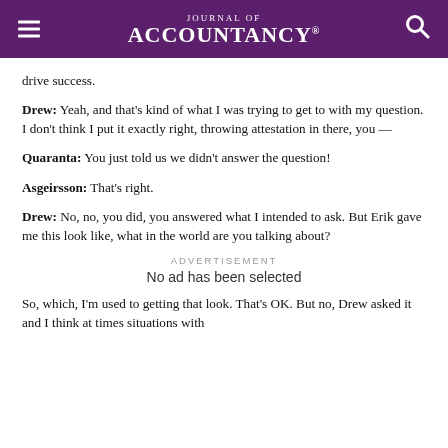Journal of Accountancy
drive success.
Drew: Yeah, and that's kind of what I was trying to get to with my question. I don't think I put it exactly right, throwing attestation in there, you —
Quaranta: You just told us we didn't answer the question!
Asgeirsson: That's right.
Drew: No, no, you did, you answered what I intended to ask. But Erik gave me this look like, what in the world are you talking about?
ADVERTISEMENT
No ad has been selected
So, which, I'm used to getting that look. That's OK. But no, Drew asked it and I think at times situations with